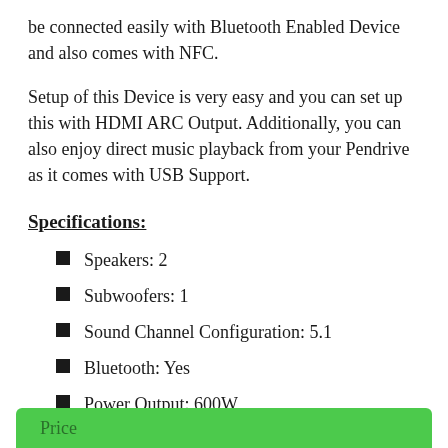be connected easily with Bluetooth Enabled Device and also comes with NFC.
Setup of this Device is very easy and you can set up this with HDMI ARC Output. Additionally, you can also enjoy direct music playback from your Pendrive as it comes with USB Support.
Specifications:
Speakers: 2
Subwoofers: 1
Sound Channel Configuration: 5.1
Bluetooth: Yes
Power Output: 600W
Remote Control: Yes